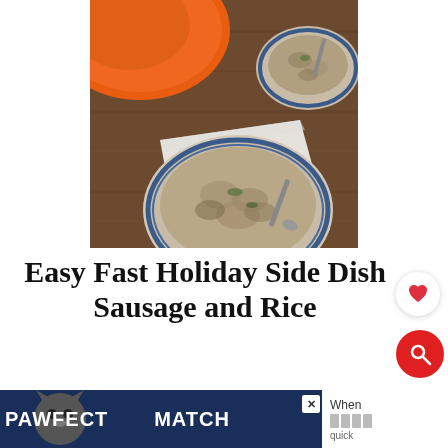[Figure (photo): Overhead view of bowls of sausage and rice dish on a wooden table with a white cloth napkin, one large orange pan partially visible at top left]
Easy Fast Holiday Side Dish Sausage and Rice
This Easy Fast Holiday Side Dish Sausage and
[Figure (infographic): PAWFECT MATCH advertisement banner with cat face graphic and close button, with additional content on the right side]